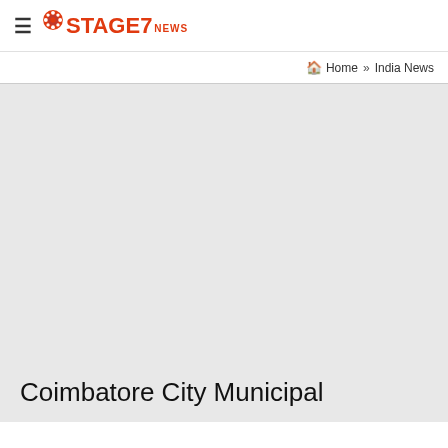≡ STAGE7 NEWS
🏠 Home » India News
[Figure (other): Large light gray placeholder/advertisement area]
Coimbatore City Municipal